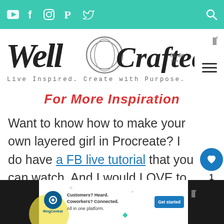Navigation bar with social icons: YouTube, Facebook, Instagram, Pinterest, Twitter, and Search
[Figure (logo): Well Crafted Studio logo with handwritten script text and circle motif. Tagline: Live Inspired. Create with Purpose.]
For More Inspiration
Want to know how to make your own layered girl in Procreate? I do have a FB live tutorial that you can watch. And I would LOVE to have you join my
WHAT'S NEXT → How to Make a Layered Pap...
[Figure (infographic): RingCentral advertisement banner. Text: Customers? Heard. Coworkers? Connected. All in one platform. Button: Get started]